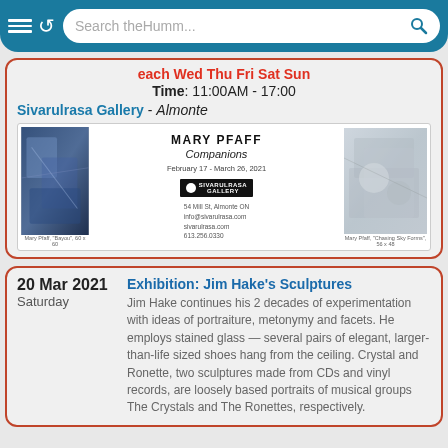Search theHumm...
each Wed Thu Fri Sat Sun
Time: 11:00AM - 17:00
Sivarulrasa Gallery - Almonte
[Figure (illustration): Mary Pfaff Companions exhibition poster showing two paintings and gallery logo. February 17 - March 26, 2021. Sivarulrasa Gallery, 54 Mill St, Almonte ON.]
20 Mar 2021
Saturday
Exhibition: Jim Hake's Sculptures
Jim Hake continues his 2 decades of experimentation with ideas of portraiture, metonymy and facets. He employs stained glass — several pairs of elegant, larger-than-life sized shoes hang from the ceiling. Crystal and Ronette, two sculptures made from CDs and vinyl records, are loosely based portraits of musical groups The Crystals and The Ronettes, respectively.